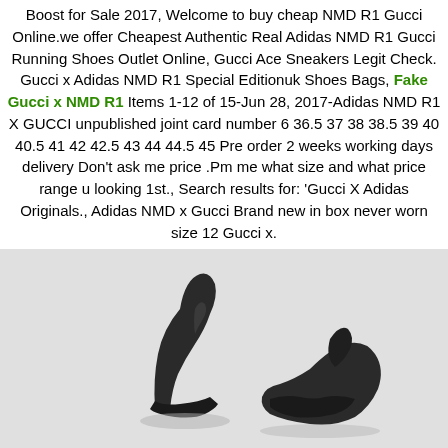Boost for Sale 2017, Welcome to buy cheap NMD R1 Gucci Online.we offer Cheapest Authentic Real Adidas NMD R1 Gucci Running Shoes Outlet Online, Gucci Ace Sneakers Legit Check. Gucci x Adidas NMD R1 Special Editionuk Shoes Bags, Fake Gucci x NMD R1 Items 1-12 of 15-Jun 28, 2017-Adidas NMD R1 X GUCCI unpublished joint card number 6 36.5 37 38 38.5 39 40 40.5 41 42 42.5 43 44 44.5 45 Pre order 2 weeks working days delivery Don't ask me price .Pm me what size and what price range u looking 1st., Search results for: 'Gucci X Adidas Originals., Adidas NMD x Gucci Brand new in box never worn size 12 Gucci x.
[Figure (photo): Photo of dark/black sneakers (shoes) on a light gray background, partially cropped showing the toe and side of the shoes]